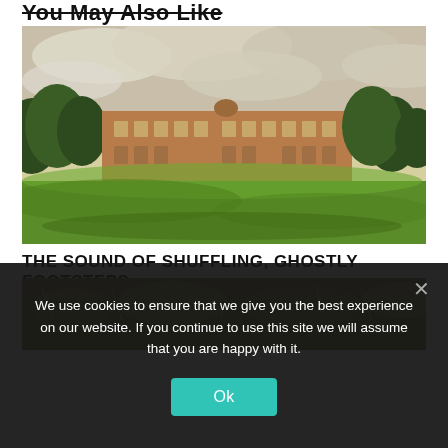You May Also Like
[Figure (illustration): Vintage colour illustration of a large English manor house or country estate set in green lawns with trees on either side and a dramatic cloudy sky]
THE SOUND OF SHUFFLING, GHOSTLY FOOTSTEPS
[Figure (photo): Partial photo showing dry grassy or moorland vegetation, bottom portion of a second article image]
We use cookies to ensure that we give you the best experience on our website. If you continue to use this site we will assume that you are happy with it.